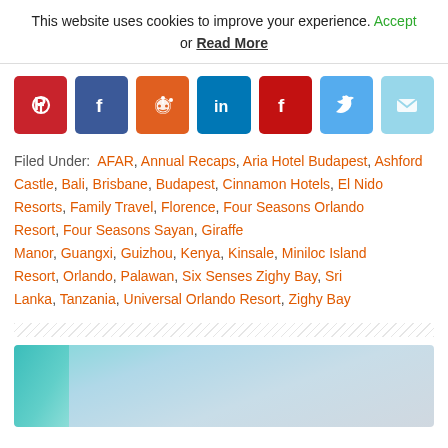This website uses cookies to improve your experience. Accept or Read More
[Figure (other): Social share buttons: Pinterest, Facebook, Reddit, LinkedIn, Flipboard, Twitter, Email]
Filed Under: AFAR, Annual Recaps, Aria Hotel Budapest, Ashford Castle, Bali, Brisbane, Budapest, Cinnamon Hotels, El Nido Resorts, Family Travel, Florence, Four Seasons Orlando Resort, Four Seasons Sayan, Giraffe Manor, Guangxi, Guizhou, Kenya, Kinsale, Miniloc Island Resort, Orlando, Palawan, Six Senses Zighy Bay, Sri Lanka, Tanzania, Universal Orlando Resort, Zighy Bay
[Figure (photo): Partial image of a teal/turquoise object against a grey-blue background]